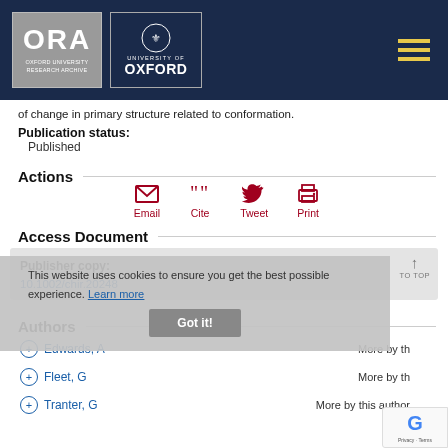ORA - Oxford University Research Archive | University of Oxford
of change in primary structure related to conformation.
Publication status: Published
Actions
[Figure (other): Action icons: Email, Cite, Tweet, Print]
Access Document
Publisher copy: 10.1002/chir.20248
This website uses cookies to ensure you get the best possible experience. Learn more
Authors
Edwards, A — More by this author
Fleet, G — More by this author
Tranter, G — More by this author